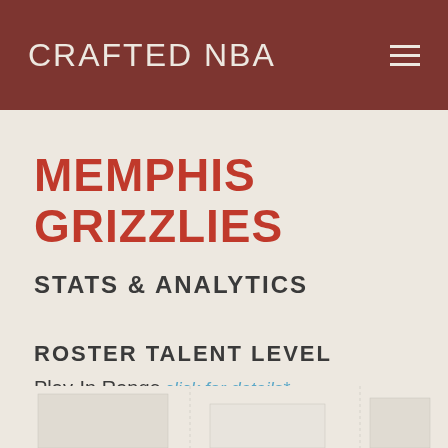CRAFTED NBA
MEMPHIS GRIZZLIES
STATS & ANALYTICS
ROSTER TALENT LEVEL
Play-In Range
click for details*